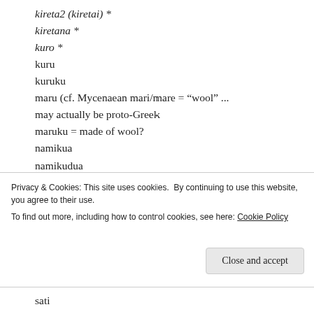kireta2 (kiretai) *
kiretana *
kuro *
kuru
kuruku
maru (cf. Mycenaean mari/mare = “wool” ... may actually be proto-Greek
maruku = made of wool?
namikua
namikudua
paja
pajai (probably a diminutive, as I have already tentatively deciphered a few Minoan Linear A words terminating in “ai”, all of which are diminutives.
Privacy & Cookies: This site uses cookies. By continuing to use this website, you agree to their use.
To find out more, including how to control cookies, see here: Cookie Policy
sati